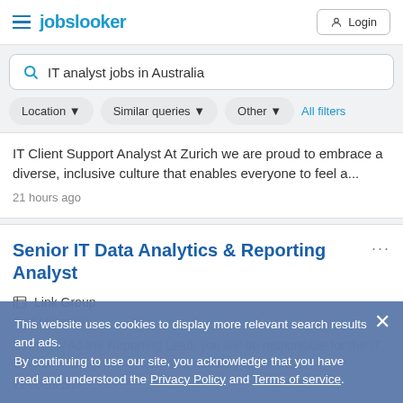jobslooker  Login
IT analyst jobs in Australia
Location ▼
Similar queries ▼
Other ▼
All filters
IT Client Support Analyst At Zurich we are proud to embrace a diverse, inclusive culture that enables everyone to feel a...
21 hours ago
Senior IT Data Analytics & Reporting Analyst
Link Group
Melbourne
Overview As the Reporting Lead, you will be responsible for the IT Service Management Reporting abability and be the...
21 hours ago
This website uses cookies to display more relevant search results and ads.
By continuing to use our site, you acknowledge that you have read and understood the Privacy Policy and Terms of service.